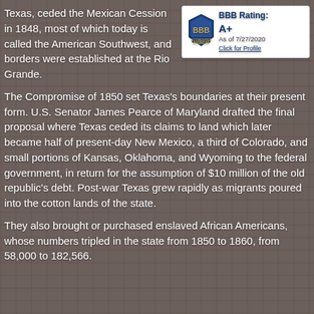Texas, ceded the Mexican Cession in 1848, most of which today is called the American Southwest, and borders were established at the Rio Grande.
[Figure (logo): BBB Accredited Business logo with BBB Rating: A+, As of 7/27/2020, Click for Profile]
The Compromise of 1850 set Texas's boundaries at their present form. U.S. Senator James Pearce of Maryland drafted the final proposal where Texas ceded its claims to land which later became half of present-day New Mexico, a third of Colorado, and small portions of Kansas, Oklahoma, and Wyoming to the federal government, in return for the assumption of $10 million of the old republic's debt. Post-war Texas grew rapidly as migrants poured into the cotton lands of the state.
They also brought or purchased enslaved African Americans, whose numbers tripled in the state from 1850 to 1860, from 58,000 to 182,566.